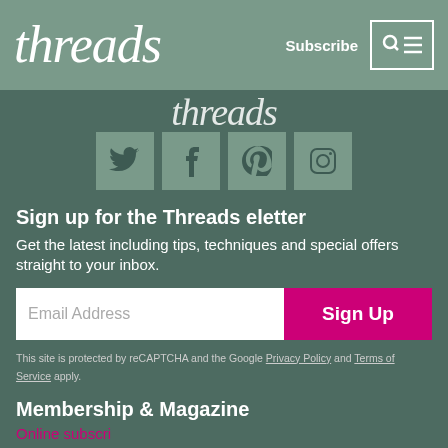threads  Subscribe
threads
[Figure (screenshot): Four social media icon buttons: Twitter, Facebook, Pinterest, Instagram — each in a muted green square]
Sign up for the Threads eletter
Get the latest including tips, techniques and special offers straight to your inbox.
Email Address  Sign Up
This site is protected by reCAPTCHA and the Google Privacy Policy and Terms of Service apply.
Membership & Magazine
Online subscri...